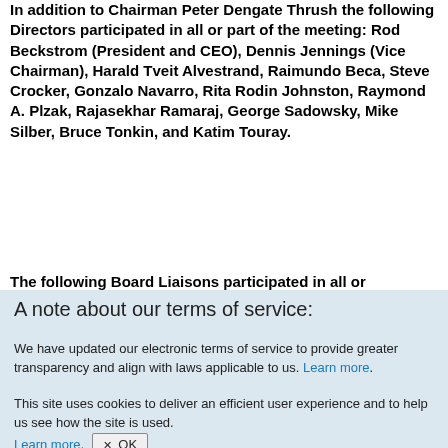In addition to Chairman Peter Dengate Thrush the following Directors participated in all or part of the meeting: Rod Beckstrom (President and CEO), Dennis Jennings (Vice Chairman), Harald Tveit Alvestrand, Raimundo Beca, Steve Crocker, Gonzalo Navarro, Rita Rodin Johnston, Raymond A. Plzak, Rajasekhar Ramaraj, George Sadowsky, Mike Silber, Bruce Tonkin, and Katim Touray.
The following Board Liaisons participated in all or
A note about our terms of service:
We have updated our electronic terms of service to provide greater transparency and align with laws applicable to us. Learn more.
This site uses cookies to deliver an efficient user experience and to help us see how the site is used. Learn more. OK